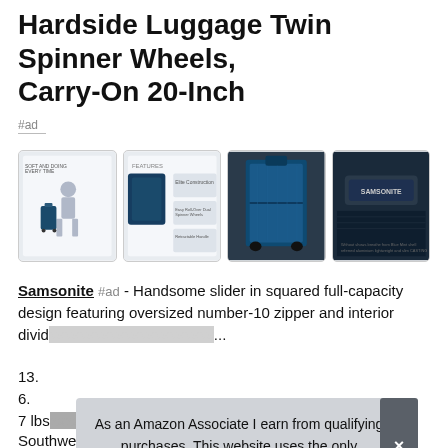Hardside Luggage Twin Spinner Wheels, Carry-On 20-Inch
#ad
[Figure (photo): Four product thumbnail images of a Samsonite hardside luggage in dark blue/teal color, showing the luggage from different angles including with models, feature callouts, full luggage view, and close-up of the brand tag.]
Samsonite #ad - Handsome slider in squared full-capacity design featuring oversized number-10 zipper and interior divider...
13.
6.
7 lbs
Southwest, Delta, American, Allegiant, Lightweight locking
As an Amazon Associate I earn from qualifying purchases. This website uses the only necessary cookies to ensure you get the best experience on our website. More information